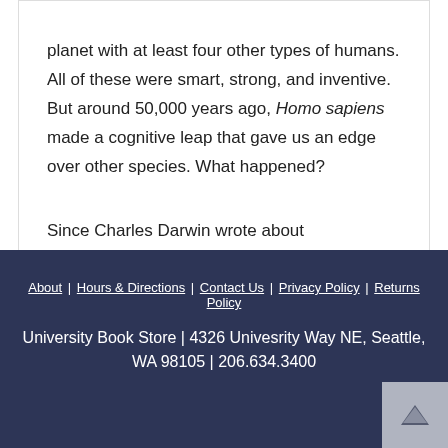planet with at least four other types of humans. All of these were smart, strong, and inventive. But around 50,000 years ago, Homo sapiens made a cognitive leap that gave us an edge over other species. What happened?

Since Charles Darwin wrote about “evolutionary fitness,” the idea of fitness has been confused with
About | Hours & Directions | Contact Us | Privacy Policy | Returns Policy
University Book Store | 4326 Univesrity Way NE, Seattle, WA 98105 | 206.634.3400